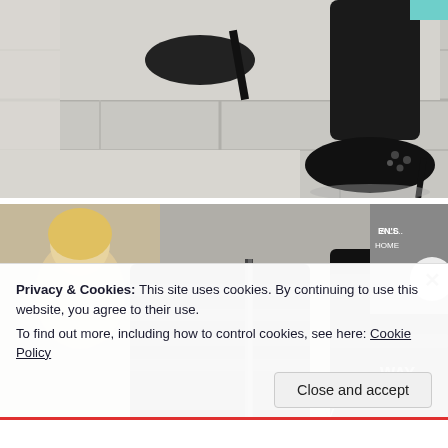[Figure (photo): Close-up photo of a person's feet wearing black high-heel stiletto pumps with studded details on white tile floor, with legs in dark jeans visible]
[Figure (photo): Close-up photo of black strappy sandal shoes / heels with zipper detail, against a blurred background of magazine covers and storefronts; two shoe styles shown side by side]
Privacy & Cookies: This site uses cookies. By continuing to use this website, you agree to their use.
To find out more, including how to control cookies, see here: Cookie Policy
Close and accept